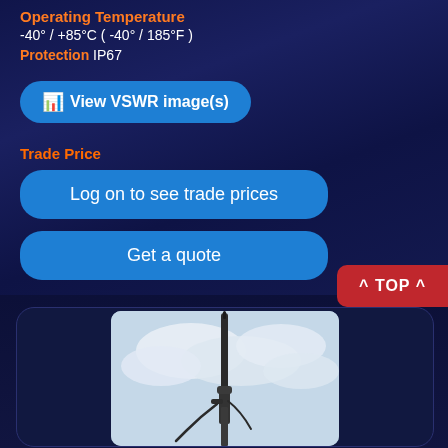Operating Temperature
-40° / +85°C ( -40° / 185°F )
Protection IP67
📊 View VSWR image(s)
Trade Price
Log on to see trade prices
Get a quote
^ TOP ^
[Figure (photo): Antenna mounted on a street pole against a cloudy sky background]